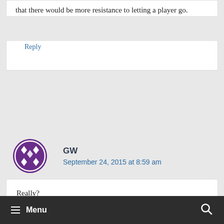that there would be more resistance to letting a player go.
Reply
GW
September 24, 2015 at 8:59 am
Really?
My understanding is that releases are worked out on an individual basis
Menu